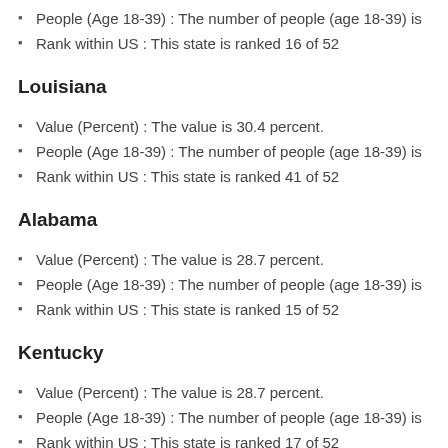People (Age 18-39) : The number of people (age 18-39) is
Rank within US : This state is ranked 16 of 52
Louisiana
Value (Percent) : The value is 30.4 percent.
People (Age 18-39) : The number of people (age 18-39) is
Rank within US : This state is ranked 41 of 52
Alabama
Value (Percent) : The value is 28.7 percent.
People (Age 18-39) : The number of people (age 18-39) is
Rank within US : This state is ranked 15 of 52
Kentucky
Value (Percent) : The value is 28.7 percent.
People (Age 18-39) : The number of people (age 18-39) is
Rank within US : This state is ranked 17 of 52